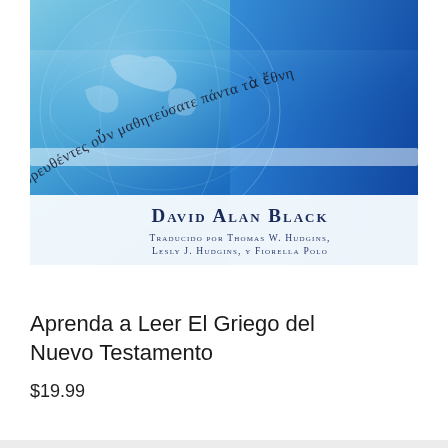[Figure (illustration): Book cover with blue gradient background showing a world map, Greek text curved across the image reading 'πορευθέντες οὖν μαθητεύσατε πάντα τὰ ἔθνη', with author name 'DAVID ALAN BLACK' and translator credits 'TRADUCIDO POR THOMAS W. HUDGINS, LESLY J. HUDGINS, Y FIORELLA POLO']
Aprenda a Leer El Griego del Nuevo Testamento
$19.99